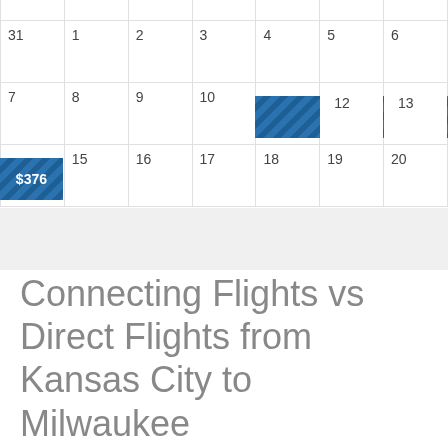[Figure (other): Calendar grid showing dates 31, 1-20 with $376 price highlighted spanning days 11-13 and day 14]
Connecting Flights vs Direct Flights from Kansas City to Milwaukee